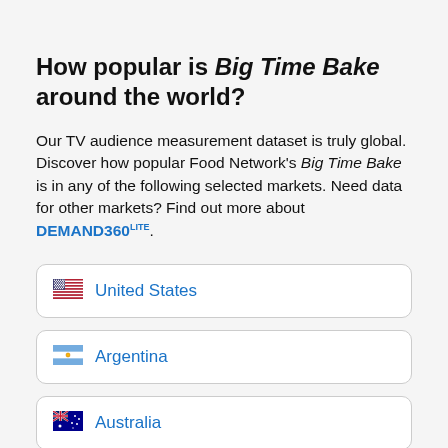How popular is Big Time Bake around the world?
Our TV audience measurement dataset is truly global. Discover how popular Food Network's Big Time Bake is in any of the following selected markets. Need data for other markets? Find out more about DEMAND360LITE.
🇺🇸 United States
🇦🇷 Argentina
🇦🇺 Australia
🇧🇷 Brazil (partially visible)